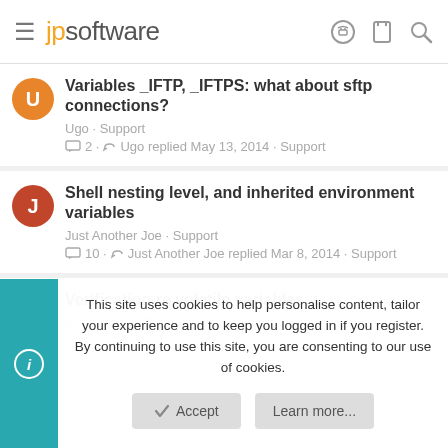jpsoftware
Variables _IFTP, _IFTPS: what about sftp connections?
Ugo · Support
2 · Ugo replied May 13, 2014 · Support
Shell nesting level, and inherited environment variables
Just Another Joe · Support
10 · Just Another Joe replied Mar 8, 2014 · Support
Verification re volatile variables…
mathewsdw · Support
This site uses cookies to help personalise content, tailor your experience and to keep you logged in if you register.
By continuing to use this site, you are consenting to our use of cookies.